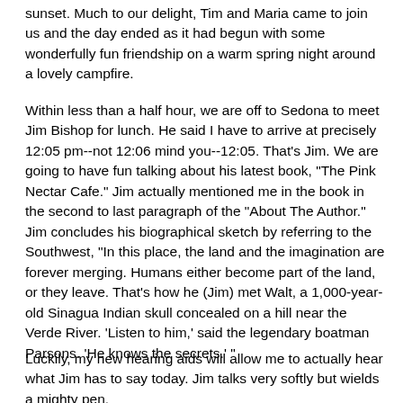sunset.  Much to our delight, Tim and Maria came to join us and the day ended as it had begun with some wonderfully fun friendship on a warm spring night around a lovely campfire.
Within less than a half hour, we are off to Sedona to meet Jim Bishop for lunch.  He said I have to arrive at precisely 12:05 pm--not 12:06 mind you--12:05.  That's Jim.  We are going to have fun talking about his latest book, "The Pink Nectar Cafe."   Jim actually mentioned me in the book in the second to last paragraph of the "About The Author."  Jim concludes his biographical sketch by referring to the Southwest, "In this place, the land and the imagination are forever merging.  Humans either become part of the land, or they leave.  That's how he (Jim) met Walt, a 1,000-year-old Sinagua Indian skull concealed on a hill near the Verde River.  'Listen to him,' said the legendary boatman Parsons. 'He knows the secrets.' "
Luckily, my new hearing aids will allow me to actually hear what Jim has to say today. Jim talks very softly but wields a mighty pen.